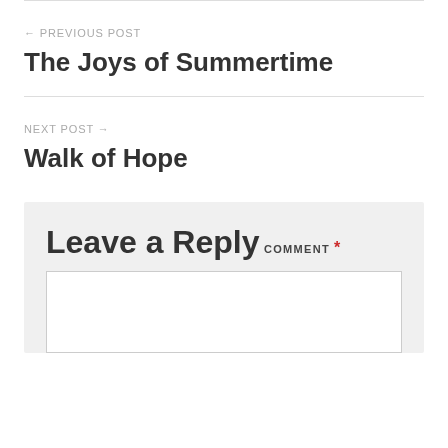← PREVIOUS POST
The Joys of Summertime
NEXT POST →
Walk of Hope
Leave a Reply
COMMENT *